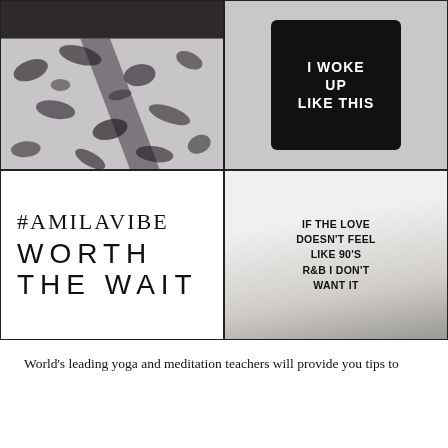[Figure (photo): Top-left quadrant: animal print (leopard/snakeskin pattern) leggings with dark waistband panel]
[Figure (photo): Top-right quadrant: black sweatshirt on light grey background with white text reading 'I WOKE UP LIKE THIS']
[Figure (infographic): Bottom-left quadrant: white background with text '#AMILAVIBE' in serif font and 'WORTH THE WAIT' in large spaced sans-serif letters]
[Figure (photo): Bottom-right quadrant: woman wearing white t-shirt with text 'IF THE LOVE DOESN'T FEEL LIKE 90'S R&B I DON'T WANT IT', holding an orange cocktail drink, wearing jeans]
World's leading yoga and meditation teachers will provide you tips to fit the needs of it you, you need to help you. The is in id.